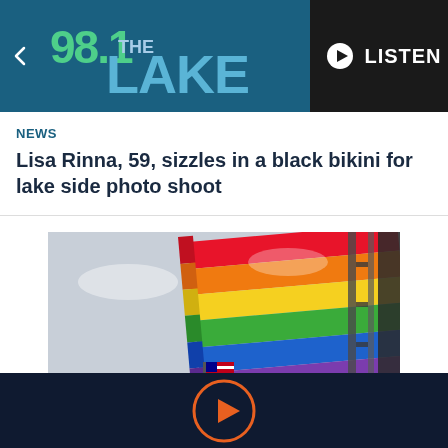98.1 THE LAKE — LISTEN
NEWS
Lisa Rinna, 59, sizzles in a black bikini for lake side photo shoot
[Figure (photo): A rainbow pride flag flying against a cloudy sky, with an American flag and metal scaffolding structure visible in the background]
[Figure (other): Play button icon (circle with triangle) in orange on dark navy background, bottom media bar]